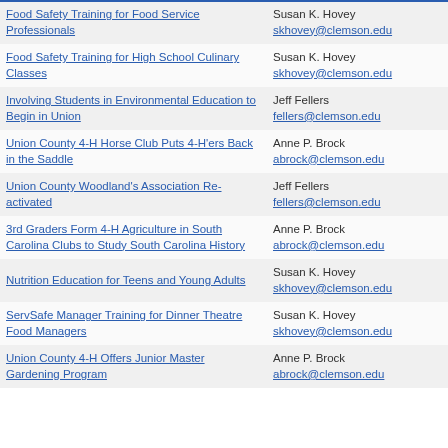| Title | Contact | Year |
| --- | --- | --- |
| Food Safety Training for Food Service Professionals | Susan K. Hovey skhovey@clemson.edu | 2005 |
| Food Safety Training for High School Culinary Classes | Susan K. Hovey skhovey@clemson.edu | 2005 |
| Involving Students in Environmental Education to Begin in Union | Jeff Fellers fellers@clemson.edu | 2005 |
| Union County 4-H Horse Club Puts 4-H'ers Back in the Saddle | Anne P. Brock abrock@clemson.edu | 2005 |
| Union County Woodland's Association Re-activated | Jeff Fellers fellers@clemson.edu | 2005 |
| 3rd Graders Form 4-H Agriculture in South Carolina Clubs to Study South Carolina History | Anne P. Brock abrock@clemson.edu | 2004 |
| Nutrition Education for Teens and Young Adults | Susan K. Hovey skhovey@clemson.edu | 2004 |
| ServSafe Manager Training for Dinner Theatre Food Managers | Susan K. Hovey skhovey@clemson.edu | 2004 |
| Union County 4-H Offers Junior Master Gardening Program | Anne P. Brock abrock@clemson.edu | 2004 |